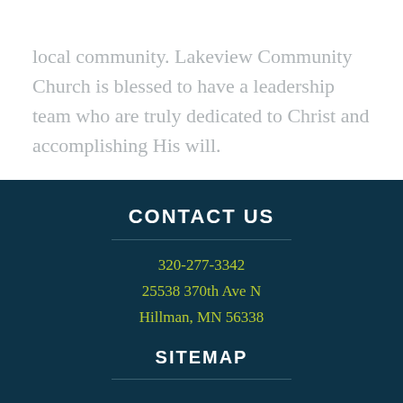local community. Lakeview Community Church is blessed to have a leadership team who are truly dedicated to Christ and accomplishing His will.
CONTACT US
320-277-3342
25538 370th Ave N
Hillman, MN 56338
SITEMAP